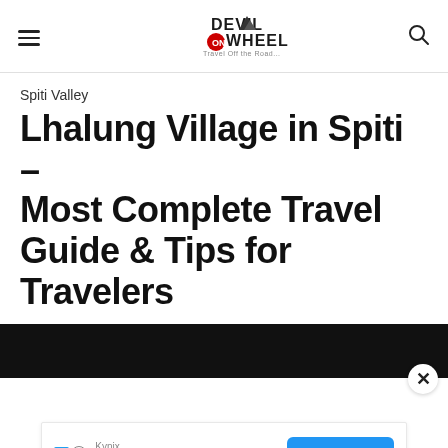Devil on Wheels – Travel Off the Road…
Spiti Valley
Lhalung Village in Spiti – Most Complete Travel Guide & Tips for Travelers
[Figure (screenshot): Black banner/video preview bar at bottom of article header]
[Figure (other): Advertisement: Kynix – Integrated Circuits Supplier with GET QUOTE button]